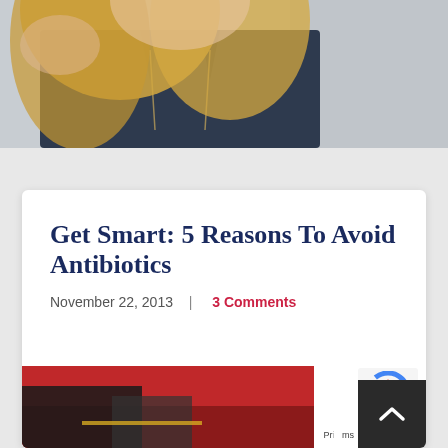[Figure (photo): Partial photo of a blonde woman in a dark navy sleeveless top with a necklace, cropped from shoulders to waist, against a grey background]
Get Smart: 5 Reasons To Avoid Antibiotics
November 22, 2013  |  3 Comments
[Figure (photo): Partial photo showing what appears to be a red jacket or garment with dark clothing underneath, cropped at bottom of page]